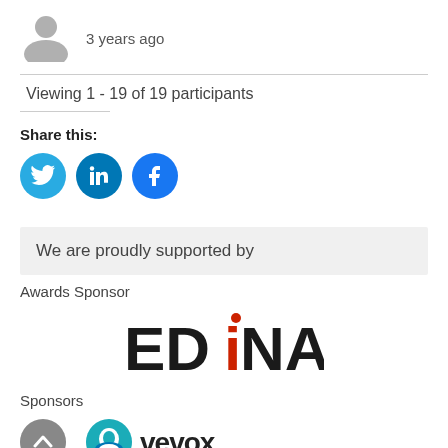[Figure (illustration): Gray avatar/person icon placeholder]
3 years ago
Viewing 1 - 19 of 19 participants
Share this:
[Figure (illustration): Social share buttons: Twitter, LinkedIn, Facebook (blue circles with white icons)]
We are proudly supported by
Awards Sponsor
[Figure (logo): EDINA logo with stylized red i]
Sponsors
[Figure (logo): Vevox logo with blue circular icon and teal/dark text]